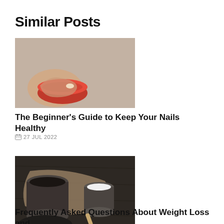Similar Posts
[Figure (photo): Close-up photo of a hand holding a red bowl or container, with a beige/gray textured fabric background.]
The Beginner’s Guide to Keep Your Nails Healthy
27 JUL 2022
[Figure (photo): Top-down photo of dark ceramic cups and bowls on a wooden surface with brown paper, one cup containing white liquid.]
Frequently Asked Questions About Weight Loss and